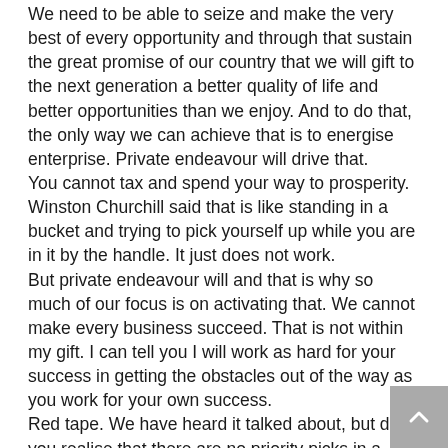We need to be able to seize and make the very best of every opportunity and through that sustain the great promise of our country that we will gift to the next generation a better quality of life and better opportunities than we enjoy. And to do that, the only way we can achieve that is to energise enterprise. Private endeavour will drive that.
You cannot tax and spend your way to prosperity. Winston Churchill said that is like standing in a bucket and trying to pick yourself up while you are in it by the handle. It just does not work.
But private endeavour will and that is why so much of our focus is on activating that. We cannot make every business succeed. That is not within my gift. I can tell you I will work as hard for your success in getting the obstacles out of the way as you work for your own success.
Red tape. We have heard it talked about, but did you realise that there are no priority picks in a sporting